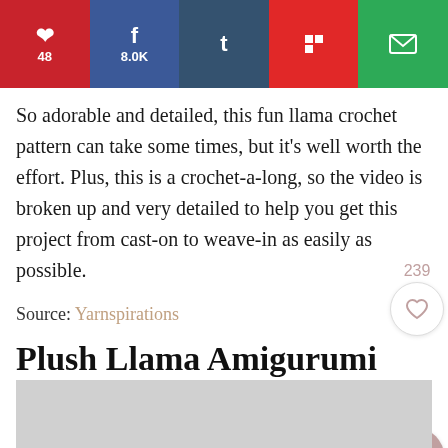[Figure (infographic): Social sharing bar with Pinterest (48), Facebook (8.0K), Tumblr, Flipboard, and Email buttons]
So adorable and detailed, this fun llama crochet pattern can take some times, but it's well worth the effort. Plus, this is a crochet-a-long, so the video is broken up and very detailed to help you get this project from cast-on to weave-in as easily as possible.
Source: Yarnspirations
Plush Llama Amigurumi
[Figure (photo): Partial image visible at bottom of page, light gray background suggesting a photo of a plush llama amigurumi]